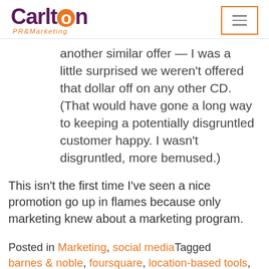Carlton PR & Marketing
another similar offer — I was a little surprised we weren't offered that dollar off on any other CD.  (That would have gone a long way to keeping a potentially disgruntled customer happy.  I wasn't disgruntled, more bemused.)
This isn't the first time I've seen a nice promotion go up in flames because only marketing knew about a marketing program.
Posted in Marketing, social mediaTagged barnes & noble, foursquare, location-based tools, offer, scvngr, social media marketing